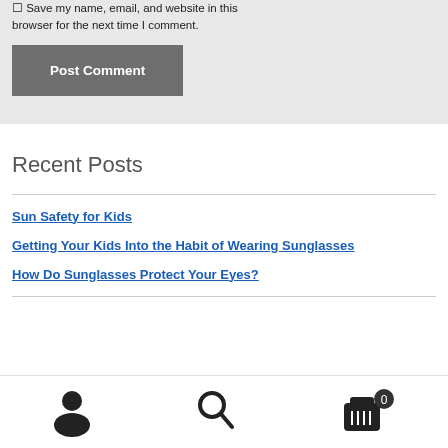Save my name, email, and website in this browser for the next time I comment.
Post Comment
Recent Posts
Sun Safety for Kids
Getting Your Kids Into the Habit of Wearing Sunglasses
How Do Sunglasses Protect Your Eyes?
[Figure (infographic): Bottom navigation bar with user icon, search icon, and shopping cart icon with badge showing 0]